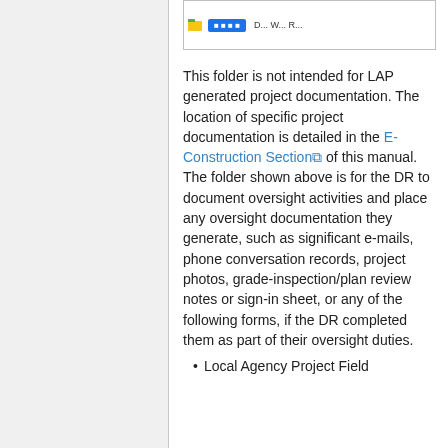[Figure (screenshot): Partial screenshot of a folder or file browser interface showing icons and a blue button with partially visible text]
This folder is not intended for LAP generated project documentation. The location of specific project documentation is detailed in the E-Construction Section of this manual. The folder shown above is for the DR to document oversight activities and place any oversight documentation they generate, such as significant e-mails, phone conversation records, project photos, grade-inspection/plan review notes or sign-in sheet, or any of the following forms, if the DR completed them as part of their oversight duties.
Local Agency Project Field